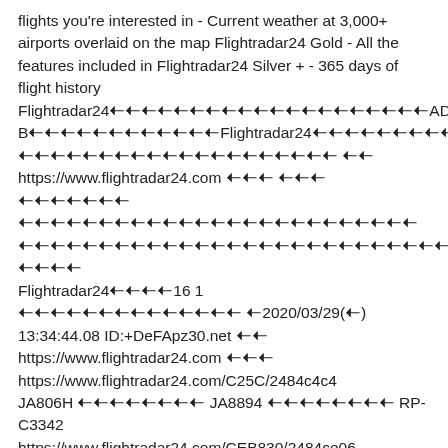flights you're interested in - Current weather at 3,000+ airports overlaid on the map Flightradar24 Gold - All the features included in Flightradar24 Silver + - 365 days of flight history Flightradar24󾠠󾠠󾠠󾠠󾠠󾠠󾠠󾠠󾠠󾠠󾠠󾠠󾠠󾠠󾠠󾠠󾠠󾠠󾠠󾠠ADS-B󾠠󾠠󾠠󾠠󾠠󾠠󾠠󾠠󾠠󾠠󾠠󾠠Flightradar24󾠠󾠠󾠠󾠠󾠠󾠠󾠠󾠠󾠠󾠠󾠠󾠠󾠠Flightradar24󾠠󾠠󾠠󾠠󾠠󾠠󾠠󾠠󾠠󾠠󾠠󾠠󾠠󾠠󾠠󾠠󾠠󾠠󾠠󾠠󾠠󾠠󾠠󾠠󾠠󾠠󾠠󾠠󾠠󾠠 󾠠󾠠󾠠󾠠󾠠󾠠󾠠󾠠󾠠󾠠󾠠󾠠󾠠󾠠󾠠󾠠󾠠󾠠󾠠󾠠 󾠠󾠠 https://www.flightradar24.com 󾠠󾠠󾠠 󾠠󾠠󾠠 󾠠󾠠󾠠󾠠󾠠󾠠󾠠 󾠠󾠠󾠠󾠠󾠠󾠠󾠠󾠠󾠠󾠠󾠠󾠠󾠠󾠠󾠠󾠠󾠠󾠠󾠠󾠠󾠠󾠠󾠠󾠠 󾠠󾠠󾠠󾠠󾠠󾠠󾠠󾠠󾠠󾠠󾠠󾠠󾠠󾠠󾠠󾠠󾠠󾠠󾠠󾠠󾠠󾠠󾠠󾠠󾠠󾠠󾠠󾠠󾠠󾠠󾠠󾠠󾠠󾠠󾠠󾠠󾠠󾠠󾠠󾠠󾠠 󾠠󾠠󾠠󾠠 Flightradar24󾠠󾠠󾠠󾠠16 1 󾠠󾠠󾠠󾠠󾠠󾠠󾠠󾠠󾠠󾠠󾠠󾠠󾠠󾠠 󾠠2020/03/29(󾠠) 13:34:44.08 ID:+DeFApz30.net 󾠠󾠠 https://www.flightradar24.com 󾠠󾠠󾠠 https://www.flightradar24.com/C25C/2484c4c4 JA806H 󾠠󾠠󾠠󾠠󾠠󾠠󾠠󾠠 JA8894 󾠠󾠠󾠠󾠠󾠠󾠠󾠠󾠠 RP-C3342 https://www.flightradar24.com/CEB830/2484ce06 2021-04-18 · 2 dagar sedan · As Flightradar24 states, not all aircraft are equipped with an ADS-B